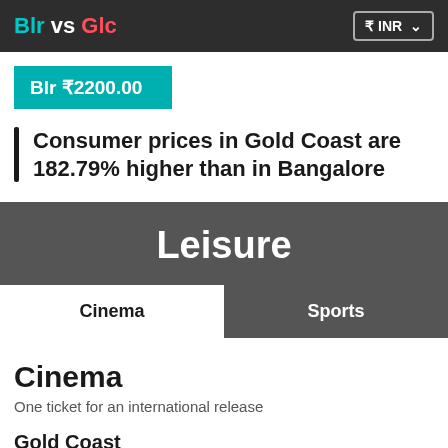Blr vs Glc  ₹ INR
Blr ₹2200.00
Consumer prices in Gold Coast are 182.79% higher than in Bangalore
Leisure
Cinema
Sports
Cinema
One ticket for an international release
Gold Coast